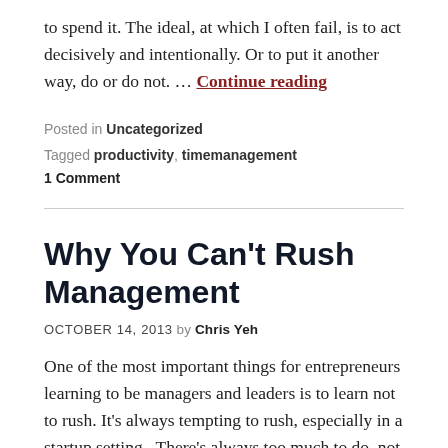to spend it. The ideal, at which I often fail, is to act decisively and intentionally. Or to put it another way, do or do not. … Continue reading
Posted in Uncategorized
Tagged productivity, timemanagement
1 Comment
Why You Can't Rush Management
OCTOBER 14, 2013 by Chris Yeh
One of the most important things for entrepreneurs learning to be managers and leaders is to learn not to rush. It's always tempting to rush, especially in a startup setting.  There's always too much to do, not